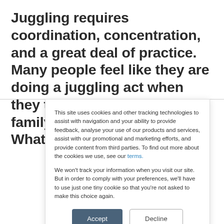Juggling requires coordination, concentration, and a great deal of practice. Many people feel like they are doing a juggling act when they try to balance work, family and social obligations. What if it were possible to
This site uses cookies and other tracking technologies to assist with navigation and your ability to provide feedback, analyse your use of our products and services, assist with our promotional and marketing efforts, and provide content from third parties. To find out more about the cookies we use, see our terms.
We won't track your information when you visit our site. But in order to comply with your preferences, we'll have to use just one tiny cookie so that you're not asked to make this choice again.